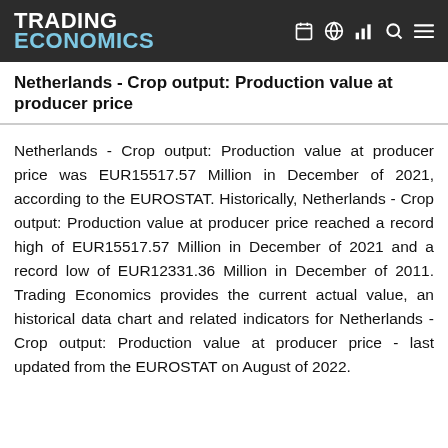TRADING ECONOMICS
Netherlands - Crop output: Production value at producer price
Netherlands - Crop output: Production value at producer price was EUR15517.57 Million in December of 2021, according to the EUROSTAT. Historically, Netherlands - Crop output: Production value at producer price reached a record high of EUR15517.57 Million in December of 2021 and a record low of EUR12331.36 Million in December of 2011. Trading Economics provides the current actual value, an historical data chart and related indicators for Netherlands - Crop output: Production value at producer price - last updated from the EUROSTAT on August of 2022.